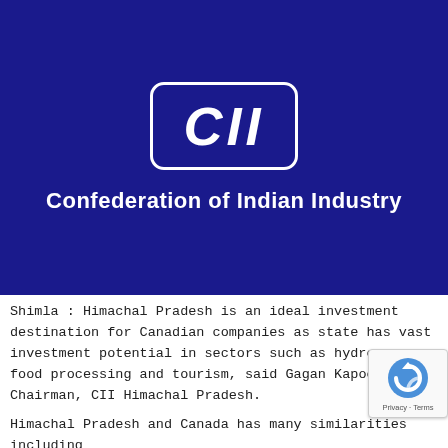[Figure (logo): CII (Confederation of Indian Industry) logo on dark blue background. White rounded rectangle border containing italic bold white text 'CII'. Below the box, white bold text reads 'Confederation of Indian Industry'.]
Shimla : Himachal Pradesh is an ideal investment destination for Canadian companies as state has vast investment potential in sectors such as hydro power, food processing and tourism, said Gagan Kapoor, Vice Chairman, CII Himachal Pradesh.
Himachal Pradesh and Canada has many similarities including